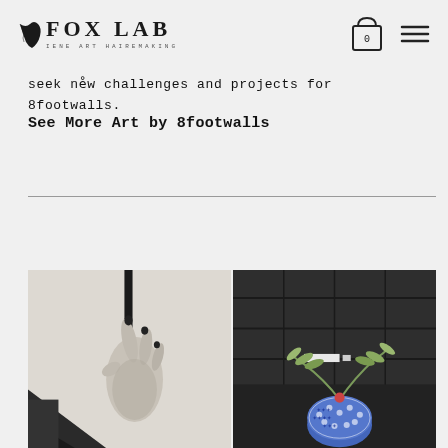[Figure (logo): Fox Lab logo with fox icon and text 'FOX LAB' with subtitle 'IENE ART HAIREMAKING']
[Figure (infographic): Shopping bag icon with number 0 and hamburger menu icon]
seek new challenges and projects for 8footwalls.
See More Art by 8footwalls
[Figure (photo): Black and white photo of a hand holding a thin vertical line/stick with geometric black triangular shape in lower left]
[Figure (photo): Dark grey tiled wall with a decorative blue patterned ceramic vase/bowl with eucalyptus branches, elevated on dark surface]